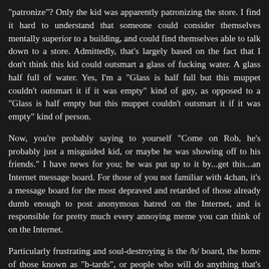"patronize"? Only the kid was apparently patronizing the store. I find it hard to understand that someone could consider themselves mentally superior to a building, and could find themselves able to talk down to a store. Admittedly, that's largely based on the fact that I don't think this kid could outsmart a glass of fucking water. A glass half full of water. Yes, I'm a "Glass is half full but this muppet couldn't outsmart it if it was empty" kind of guy, as opposed to a "Glass is half empty but this muppet couldn't outsmart it if it was empty" kind of person.
Now, you're probably saying to yourself "Come on Rob, he's probably just a misguided kid, or maybe he was showing off to his friends." I have news for you; he was put up to it by...get this...an Internet message board. For those of you not familiar with 4chan, it's a message board for the most depraved and retarded of those already dumb enough to post anonymous hatred on the Internet, and is responsible for pretty much every annoying meme you can think of on the Internet.
Particularly frustrating and soul-destroying is the /b/ board, the home of those known as "b-tards", or people who will do anything that's written on the board. In this case, a friend of mine named